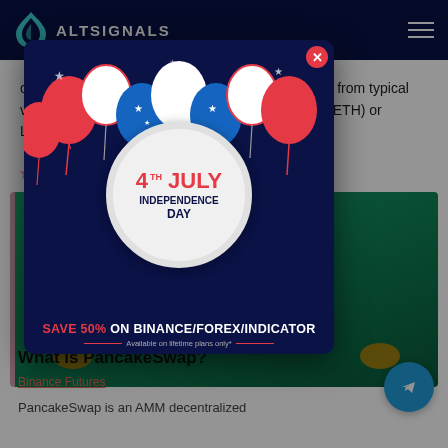ALTSIGNALS
cryptocurrency market. However, they are different from typical virtual currencies. While Bitcoin (BTC), Ethereum (ETH) or Litecoin (LTC)
2021
[Figure (infographic): 4th July Independence Day popup ad: Save 50% on Binance/Forex/Indicators - Available on lifetime plans only]
[Figure (illustration): PancakeSwap card with teal/green background and coin illustrations]
What is PancakeSwap?
Binance Futures
PancakeSwap is an AMM decentralized